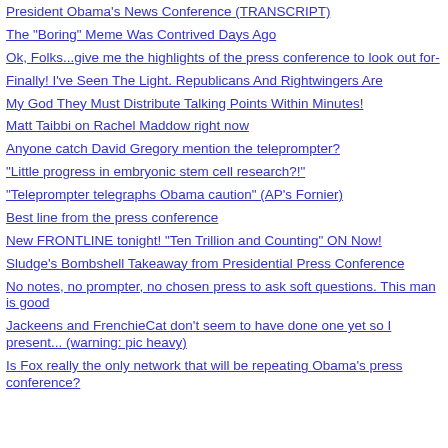President Obama's News Conference (TRANSCRIPT)
The "Boring" Meme Was Contrived Days Ago
Ok, Folks...give me the highlights of the press conference to look out for-
Finally! I've Seen The Light. Republicans And Rightwingers Are
My God They Must Distribute Talking Points Within Minutes!
Matt Taibbi on Rachel Maddow right now
Anyone catch David Gregory mention the teleprompter?
"Little progress in embryonic stem cell research?!"
"Teleprompter telegraphs Obama caution" (AP's Fornier)
Best line from the press conference
New FRONTLINE tonight! "Ten Trillion and Counting" ON Now!
Sludge's Bombshell Takeaway from Presidential Press Conference
No notes, no prompter, no chosen press to ask soft questions. This man is good
Jackeens and FrenchieCat don't seem to have done one yet so I present... (warning: pic heavy)
Is Fox really the only network that will be repeating Obama's press conference?